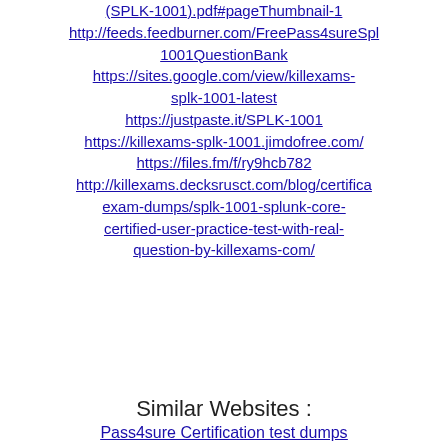(SPLK-1001).pdf#pageThumbnail-1
http://feeds.feedburner.com/FreePass4sureSpl1001QuestionBank
https://sites.google.com/view/killexams-splk-1001-latest
https://justpaste.it/SPLK-1001
https://killexams-splk-1001.jimdofree.com/
https://files.fm/f/ry9hcb782
http://killexams.decksrusct.com/blog/certification-exam-dumps/splk-1001-splunk-core-certified-user-practice-test-with-real-question-by-killexams-com/
Similar Websites :
Pass4sure Certification test dumps